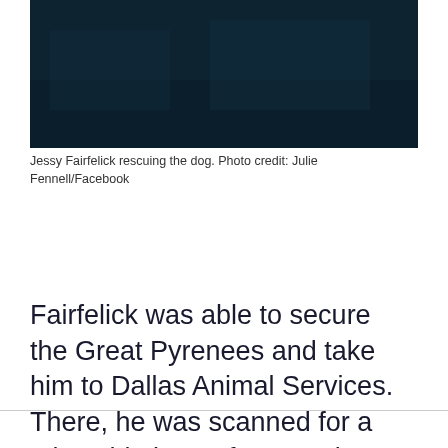[Figure (photo): Dark photograph showing a dog rescue scene, mostly dark tones with a dark blue-grey background]
Jessy Fairfelick rescuing the dog. Photo credit: Julie Fennell/Facebook
Fairfelick was able to secure the Great Pyrenees and take him to Dallas Animal Services. There, he was scanned for a microchip but unfortunately, none was found.